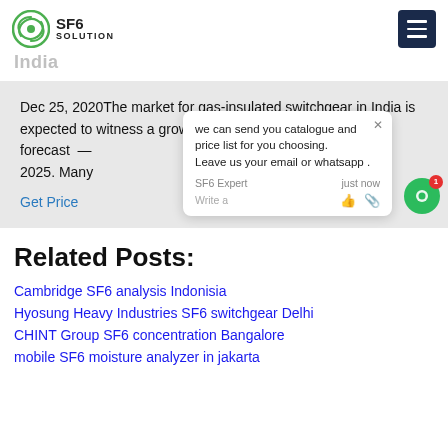SF6 SOLUTION
Dec 25, 2020The market for gas-insulated switchgear in India is expected to witness a growth of more than 5% during the forecast — 2025. Many
Get Price
we can send you catalogue and price list for you choosing.
Leave us your email or whatsapp .
Related Posts:
Cambridge SF6 analysis Indonisia
Hyosung Heavy Industries SF6 switchgear Delhi
CHINT Group SF6 concentration Bangalore
mobile SF6 moisture analyzer in jakarta